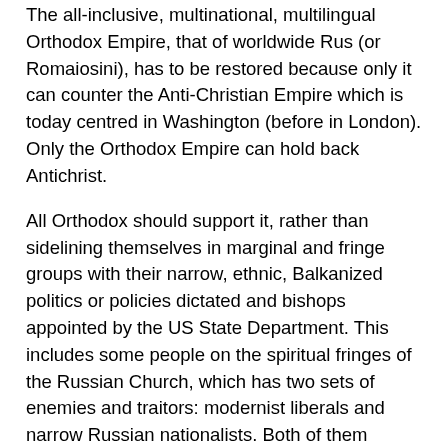The all-inclusive, multinational, multilingual Orthodox Empire, that of worldwide Rus (or Romaiosini), has to be restored because only it can counter the Anti-Christian Empire which is today centred in Washington (before in London). Only the Orthodox Empire can hold back Antichrist.
All Orthodox should support it, rather than sidelining themselves in marginal and fringe groups with their narrow, ethnic, Balkanized politics or policies dictated and bishops appointed by the US State Department. This includes some people on the spiritual fringes of the Russian Church, which has two sets of enemies and traitors: modernist liberals and narrow Russian nationalists. Both of them equally reject the multinational and imperial ('ecumenical in the Orthodox sense) calling of the Russian Church, each in their own provincial way.
Q: Is such a view important to Russians as well as to Non-Russians?